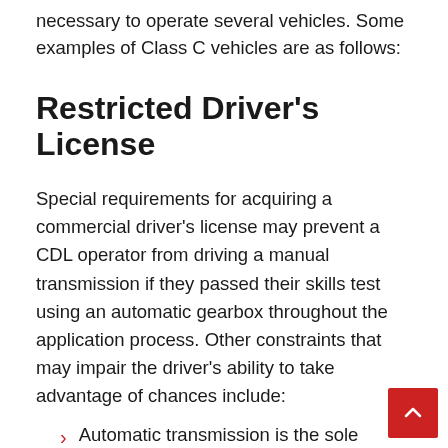necessary to operate several vehicles. Some examples of Class C vehicles are as follows:
Restricted Driver's License
Special requirements for acquiring a commercial driver's license may prevent a CDL operator from driving a manual transmission if they passed their skills test using an automatic gearbox throughout the application process. Other constraints that may impair the driver's ability to take advantage of chances include:
Automatic transmission is the sole